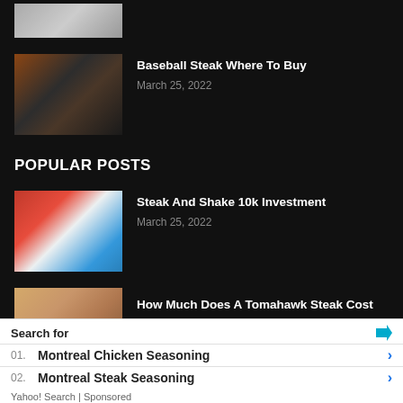[Figure (photo): Partial thumbnail image at top, cropped]
[Figure (photo): Baseball steak close-up photo with herbs]
Baseball Steak Where To Buy
March 25, 2022
POPULAR POSTS
[Figure (photo): Steak 'n Shake restaurant exterior]
Steak And Shake 10k Investment
March 25, 2022
[Figure (photo): Tomahawk steak on wooden board, partially visible]
How Much Does A Tomahawk Steak Cost
Search for
01.  Montreal Chicken Seasoning
02.  Montreal Steak Seasoning
Yahoo! Search | Sponsored